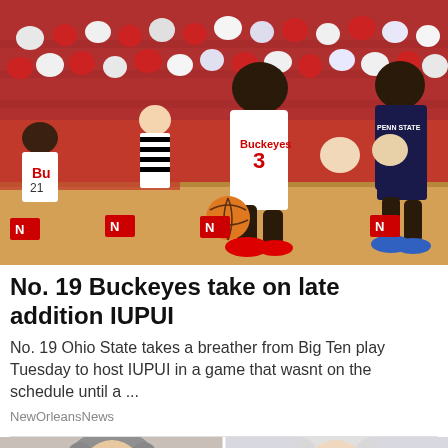[Figure (photo): Basketball game photo showing Ohio State Buckeyes player #3 driving with the ball against Penn State player #2, with referee and crowd in background]
No. 19 Buckeyes take on late addition IUPUI
No. 19 Ohio State takes a breather from Big Ten play Tuesday to host IUPUI in a game that wasnt on the schedule until a ...
NewOrleansNews
[Figure (photo): Two people side by side, partial view of heads/faces, appearing to be a news article thumbnail]